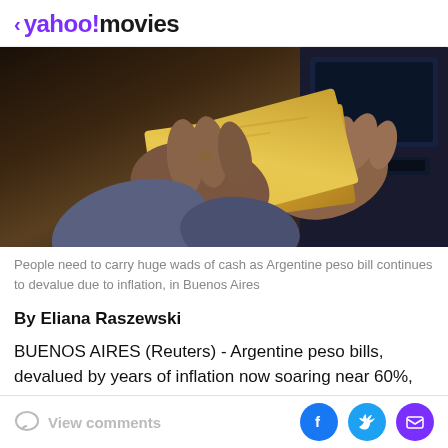< yahoo!movies
[Figure (photo): Hands holding Argentine peso banknotes at an ATM machine in Buenos Aires]
People need to carry huge wads of cash as Argentine peso bill continues to devalue due to inflation, in Buenos Aires
By Eliana Raszewski
BUENOS AIRES (Reuters) - Argentine peso bills, devalued by years of inflation now soaring near 60%, are starting to cause a literal strain on wallets - with the largest banknote in circulation worth under $5 in
View comments